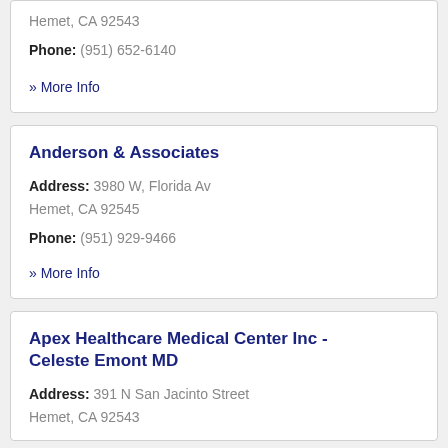Hemet, CA 92543
Phone: (951) 652-6140
» More Info
Anderson & Associates
Address: 3980 W, Florida Av Hemet, CA 92545
Phone: (951) 929-9466
» More Info
Apex Healthcare Medical Center Inc - Celeste Emont MD
Address: 391 N San Jacinto Street Hemet, CA 92543